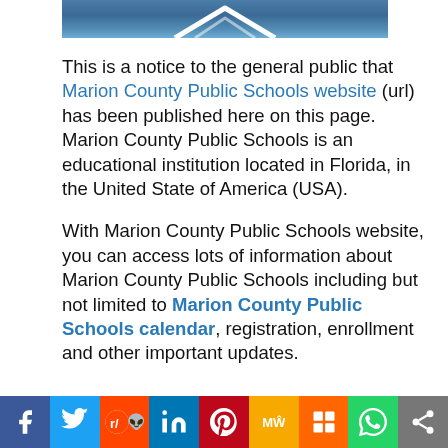[Figure (photo): Partial top image of Marion County Public Schools banner/header photo showing blue sky and possibly a school building or logo]
This is a notice to the general public that Marion County Public Schools website (url) has been published here on this page. Marion County Public Schools is an educational institution located in Florida, in the United State of America (USA).
With Marion County Public Schools website, you can access lots of information about Marion County Public Schools including but not limited to Marion County Public Schools calendar, registration, enrollment and other important updates.
[Figure (infographic): Social media sharing bar with icons: Facebook, Twitter, Reddit, LinkedIn, Pinterest, MeWe, Mix, WhatsApp, Share]